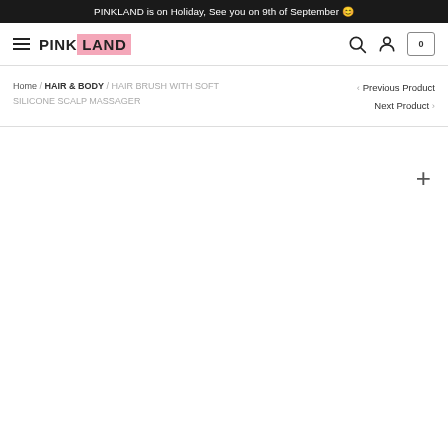PINKLAND is on Holiday, See you on 9th of September 😊
[Figure (logo): PINKLAND brand logo with hamburger menu, search icon, user icon, and cart icon showing 0 items]
Home / HAIR & BODY / HAIR BRUSH WITH SOFT SILICONE SCALP MASSAGER
< Previous Product
Next Product >
[Figure (other): Product image area (blank/loading) with a zoom/expand plus icon in upper right]